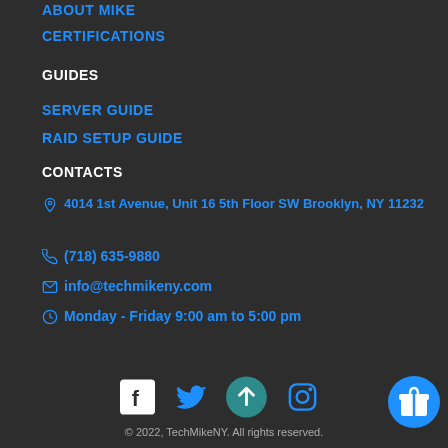ABOUT MIKE
CERTIFICATIONS
GUIDES
SERVER GUIDE
RAID SETUP GUIDE
CONTACTS
4014 1st Avenue, Unit 16 5th Floor SW Brooklyn, NY 11232
(718) 635-9880
info@techmikeny.com
Monday - Friday 9:00 am to 5:00 pm
[Figure (other): Social media icons: Facebook, Twitter, Instagram; scroll-to-top button]
© 2022, TechMikeNY. All rights reserved.